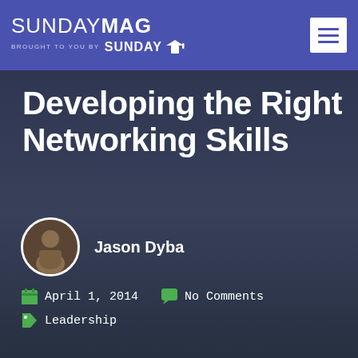SUNDAY MAG — BROUGHT TO YOU BY SUNDAY U
Developing the Right Networking Skills
Jason Dyba
April 1, 2014   No Comments   Leadership